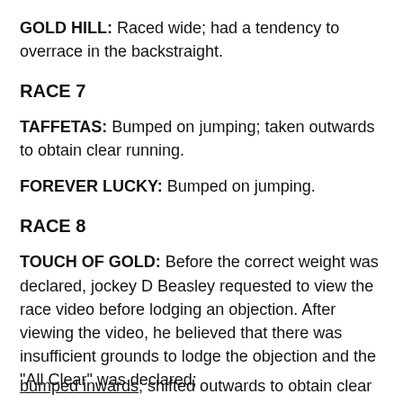GOLD HILL: Raced wide; had a tendency to overrace in the backstraight.
RACE 7
TAFFETAS: Bumped on jumping; taken outwards to obtain clear running.
FOREVER LUCKY: Bumped on jumping.
RACE 8
TOUCH OF GOLD: Before the correct weight was declared, jockey D Beasley requested to view the race video before lodging an objection. After viewing the video, he believed that there was insufficient grounds to lodge the objection and the "All Clear" was declared; bumped inwards; shifted outwards to obtain clear